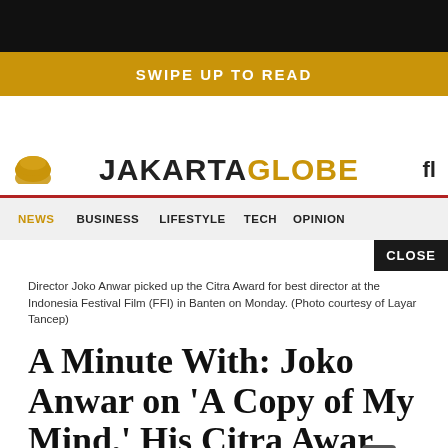SWIPE UP TO READ
JAKARTA GLOBE
NEWS  BUSINESS  LIFESTYLE  TECH  OPINION
Director Joko Anwar picked up the Citra Award for best director at the Indonesia Festival Film (FFI) in Banten on Monday. (Photo courtesy of Layar Tancep)
A Minute With: Joko Anwar on 'A Copy of My Mind,' His Citra Award, Indonesian Cin...